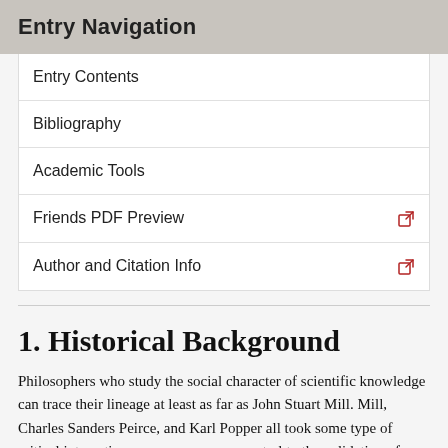Entry Navigation
Entry Contents
Bibliography
Academic Tools
Friends PDF Preview
Author and Citation Info
1. Historical Background
Philosophers who study the social character of scientific knowledge can trace their lineage at least as far as John Stuart Mill. Mill, Charles Sanders Peirce, and Karl Popper all took some type of critical interaction among persons as central to the validation of knowledge claims.
Mill's arguments occur in his well-known political essay